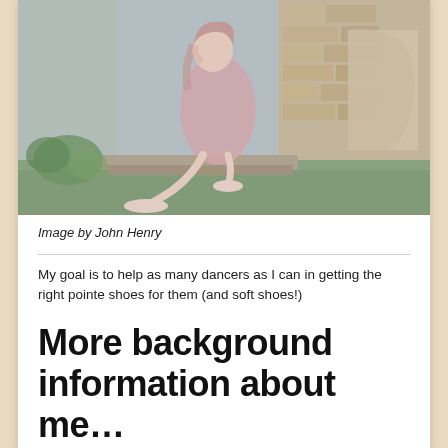[Figure (photo): A woman in a pink dress and ballet shoes sitting on stone steps in front of a ruined stone wall, with greenery around.]
Image by John Henry
My goal is to help as many dancers as I can in getting the right pointe shoes for them (and soft shoes!)
More background information about me…
I started dance when I was 6 years old. ISTD jazz, modern and the likes.